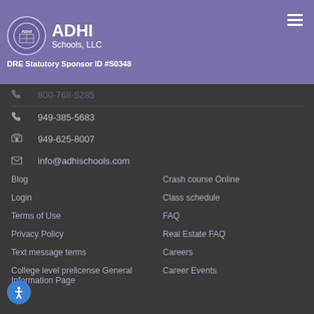ADHI Schools, LLC — DRE Statutory Sponsor ID #S0348
☎ 800-768-5285 (partially obscured)
☎ 949-385-5683
🖨 949-625-8007
✉ info@adhischools.com
Blog
Crash course Online
Login
Class schedule
Terms of Use
FAQ
Privacy Policy
Real Estate FAQ
Text message terms
Careers
College level prelicense General Information Page
Career Events